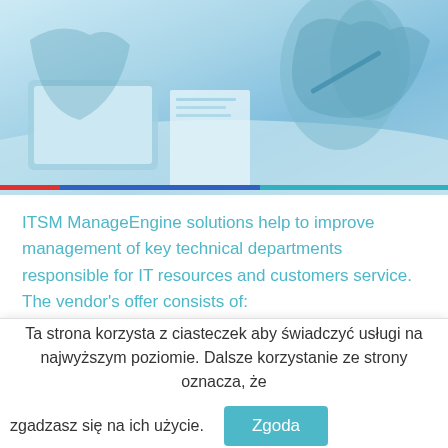[Figure (photo): A teal/blue-tinted banner photo showing people in a business meeting, with hands visible holding a pen and a tablet/laptop on a desk. Color bar stripe at the bottom of the image with red, blue, and teal segments.]
ITSM ManageEngine solutions help to improve management of key technical departments responsible for IT resources and customers service. The vendor's offer consists of:
- helpdesk system ServiceDesk Plus, data analysis tool Analytics Plus,
Ta strona korzysta z ciasteczek aby świadczyć usługi na najwyższym poziomie. Dalsze korzystanie ze strony oznacza, że zgadzasz się na ich użycie. Zgoda